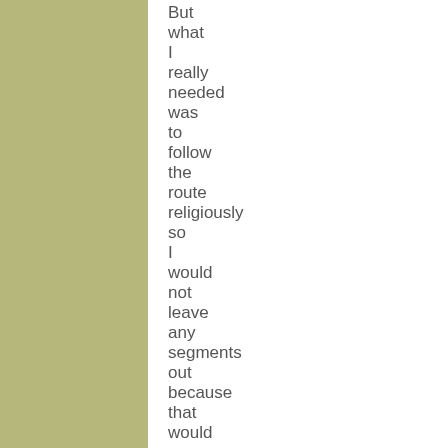But what I really needed was to follow the route religiously so I would not leave any segments out because that would